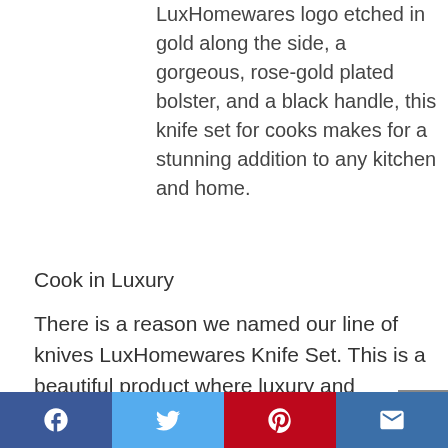LuxHomewares logo etched in gold along the side, a gorgeous, rose-gold plated bolster, and a black handle, this knife set for cooks makes for a stunning addition to any kitchen and home.
Cook in Luxury
There is a reason we named our line of knives LuxHomewares Knife Set. This is a beautiful product where luxury and functionality meet; it is a perfect blend of ergonomic, cutting precision and refined beauty. Our line of kitchenware is designed to add class to every kitchen. We as cooks and entertainers spend a significant amount of time in our kitchens, so we wanted to create a knife set that seamlessly
Facebook | Twitter | Pinterest | Email